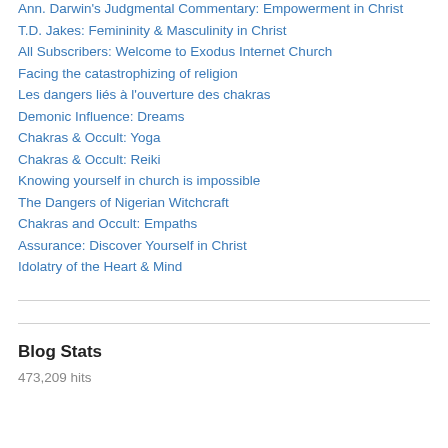Ann. Darwin's Judgmental Commentary: Empowerment in Christ
T.D. Jakes: Femininity & Masculinity in Christ
All Subscribers: Welcome to Exodus Internet Church
Facing the catastrophizing of religion
Les dangers liés à l'ouverture des chakras
Demonic Influence: Dreams
Chakras & Occult: Yoga
Chakras & Occult: Reiki
Knowing yourself in church is impossible
The Dangers of Nigerian Witchcraft
Chakras and Occult: Empaths
Assurance: Discover Yourself in Christ
Idolatry of the Heart & Mind
Blog Stats
473,209 hits